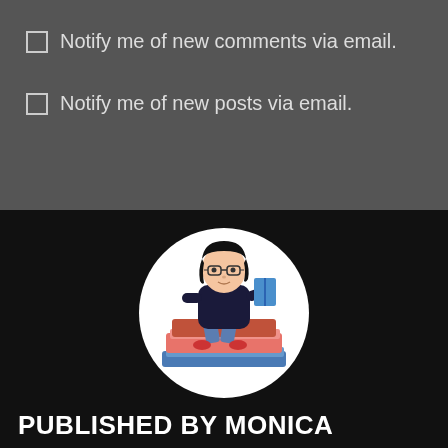Notify me of new comments via email.
Notify me of new posts via email.
[Figure (illustration): Cartoon avatar of a woman with dark hair and glasses sitting on a stack of books, reading a book, inside a white circle on a dark background.]
PUBLISHED BY MONICA
Monica is an avid reader who averages about 20 books per month. She usually prefers to read YA books but is open to other genres if the setting and